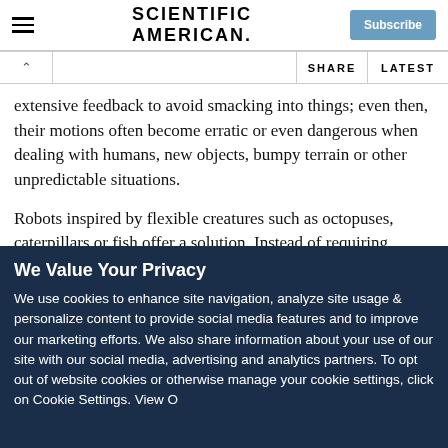Scientific American | Subscribe
SHARE | LATEST
extensive feedback to avoid smacking into things; even then, their motions often become erratic or even dangerous when dealing with humans, new objects, bumpy terrain or other unpredictable situations.
Robots inspired by flexible creatures such as octopuses, caterpillars or fish offer a solution. Instead of requiring intensive (and often imperfect) computations, soft robots built
We Value Your Privacy
We use cookies to enhance site navigation, analyze site usage & personalize content to provide social media features and to improve our marketing efforts. We also share information about your use of our site with our social media, advertising and analytics partners. To opt out of website cookies or otherwise manage your cookie settings, click on Cookie Settings. View O